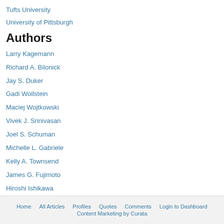Tufts University
University of Pittsburgh
Authors
Larry Kagemann
Richard A. Bilonick
Jay S. Duker
Gadi Wollstein
Maciej Wojtkowski
Vivek J. Srinivasan
Joel S. Schuman
Michelle L. Gabriele
Kelly A. Townsend
James G. Fujimoto
Hiroshi Ishikawa
Home   All Articles   Profiles   Quotes   Comments   Login to Dashboard   Content Marketing by Curata